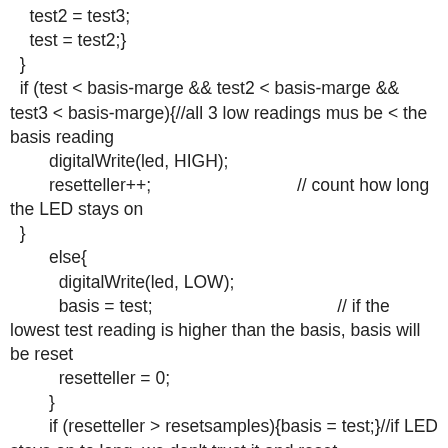test2 = test3;
    test = test2;}
  }
  if (test < basis-marge && test2 < basis-marge && test3 < basis-marge){//all 3 low readings mus be < the basis reading
        digitalWrite(led, HIGH);
        resetteller++;                              // count how long the LED stays on
  }
        else{
          digitalWrite(led, LOW);
          basis = test;                                      // if the lowest test reading is higher than the basis, basis will be reset
          resetteller = 0;
        }
        if (resetteller > resetsamples){basis = test;}//if LED stays on to long, we don't trust it and reset